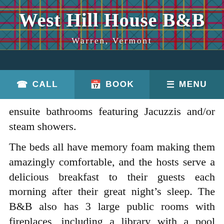West Hill House B&B
Warren, Vermont
[Figure (screenshot): Navigation bar with CALL, BOOK, and MENU buttons on teal background]
ensuite bathrooms featuring Jacuzzis and/or steam showers.
The beds all have memory foam making them amazingly comfortable, and the hosts serve a delicious breakfast to their guests each morning after their great night's sleep. The B&B also has 3 large public rooms with fireplaces, including a library with a pool table.
Accessibility
ffers a spacious self-catering 2-room apartment available by the